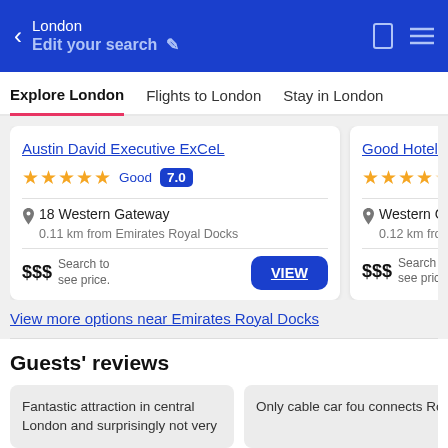London / Edit your search
Explore London | Flights to London | Stay in London
Austin David Executive ExCeL — ★★★★★ — Good 7.0 — 18 Western Gateway — 0.11 km from Emirates Royal Docks — $$$ Search to see price. VIEW
Good Hotel London — ★★★★☆ — Western Gateway — 0.12 km from Emirates — $$$ Search to see price.
View more options near Emirates Royal Docks
Guests' reviews
Fantastic attraction in central London and surprisingly not very
Only cable car found connects Royal Vi